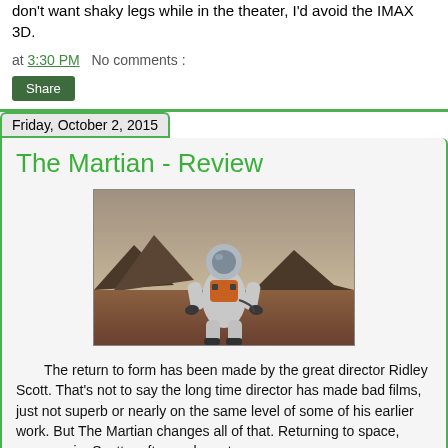don't want shaky legs while in the theater, I'd avoid the IMAX 3D.
at 3:30 PM   No comments :
Share
Friday, October 2, 2015
The Martian - Review
[Figure (photo): A person in an orange and white astronaut/space suit standing on a rocky, reddish-brown Mars-like landscape with mountains in the background and a grey sky.]
The return to form has been made by the great director Ridley Scott. That's not to say the long time director has made bad films, just not superb or nearly on the same level of some of his earlier work. But The Martian changes all of that. Returning to space, once again, Scott crafts an elegant